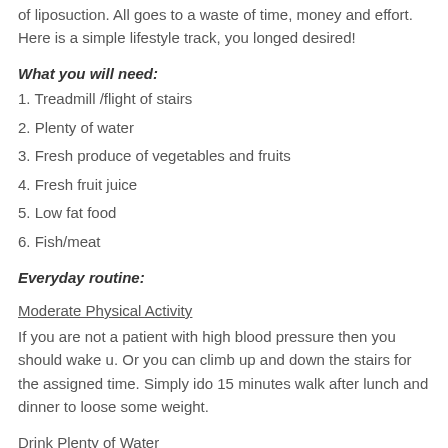of liposuction. All goes to a waste of time, money and effort. Here is a simple lifestyle track, you longed desired!
What you will need:
1. Treadmill /flight of stairs
2. Plenty of water
3. Fresh produce of vegetables and fruits
4. Fresh fruit juice
5. Low fat food
6. Fish/meat
Everyday routine:
Moderate Physical Activity
If you are not a patient with high blood pressure then you should wake u Or you can climb up and down the stairs for the assigned time. Simply do 15 minutes walk after lunch and dinner to loose some weight.
Drink Plenty of Water
Drink loads of water in accordance with your body weight.
Good Sleep